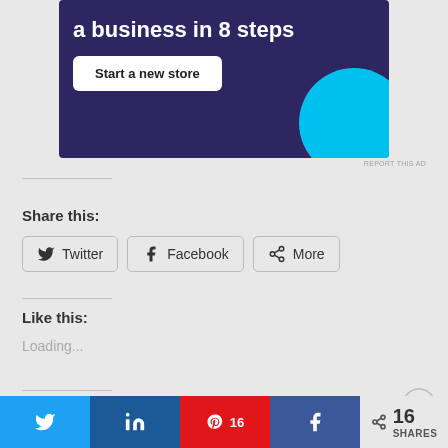[Figure (screenshot): Advertisement banner with dark purple background showing 'a business in 8 steps' text, 'Start a new store' button, and a cyan/blue circle graphic]
REPORT THIS AD
Share this:
Twitter  Facebook  More
Like this:
Loading...
Related
Advertisements
Twitter  in  16  Facebook  < 16 SHARES